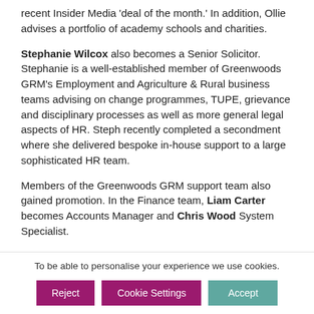recent Insider Media 'deal of the month.'  In addition, Ollie advises a portfolio of academy schools and charities.
Stephanie Wilcox also becomes a Senior Solicitor. Stephanie is a well-established member of Greenwoods GRM's Employment and Agriculture & Rural business teams advising on change programmes, TUPE, grievance and disciplinary processes as well as more general legal aspects of HR. Steph recently completed a secondment where she delivered bespoke in-house support to a large sophisticated HR team.
Members of the Greenwoods GRM support team also gained promotion.  In the Finance team, Liam Carter becomes Accounts Manager and Chris Wood System Specialist.
Managing Partner, Rob Dillarstone, says: “Here at Greenwoods GRM we focus on creating the ideal conditions for everyone’s success.  It is great to reward the excellent contributions from Clare, May, Ollie, Stephanie, Liam and Chris with these
To be able to personalise your experience we use cookies.